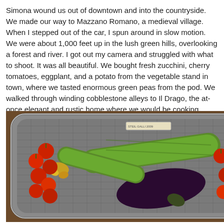Simona wound us out of downtown and into the countryside.  We made our way to Mazzano Romano, a medieval village.  When I stepped out of the car, I spun around in slow motion.  We were about 1,000 feet up in the lush green hills, overlooking a forest and river.  I got out my camera and struggled with what to shoot.  It was all beautiful.  We bought fresh zucchini, cherry tomatoes, eggplant, and a potato from the vegetable stand in town, where we tasted enormous green peas from the pod.  We walked through winding cobblestone alleys to Il Drago, the at-once elegant and rustic home where we would be cooking.
[Figure (photo): A metal mesh tray holding fresh vegetables: two large zucchini, cherry tomatoes on the vine, an eggplant, and a small zucchini with flower, arranged on a wooden surface.]